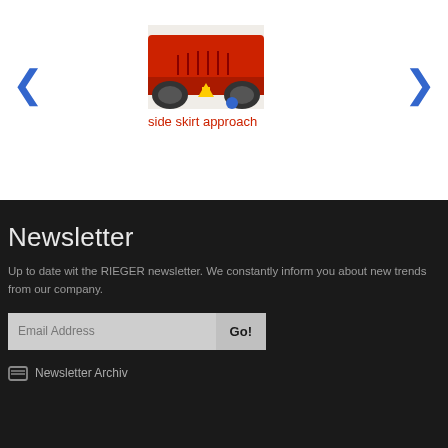[Figure (photo): Carousel image of a red car side skirt with a yellow arrow indicator, flanked by blue left and right navigation arrows, and a blue dot indicator below the image]
side skirt approach
Newsletter
Up to date wit the RIEGER newsletter. We constantly inform you about new trends from our company.
Newsletter Archiv